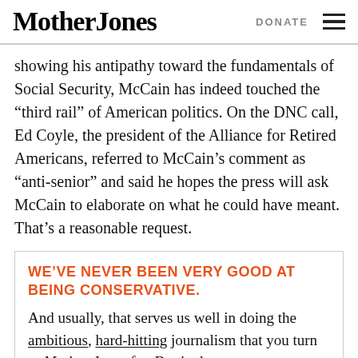Mother Jones | DONATE
showing his antipathy toward the fundamentals of Social Security, McCain has indeed touched the “third rail” of American politics. On the DNC call, Ed Coyle, the president of the Alliance for Retired Americans, referred to McCain’s comment as “anti-senior” and said he hopes the press will ask McCain to elaborate on what he could have meant. That’s a reasonable request.
WE’VE NEVER BEEN VERY GOOD AT BEING CONSERVATIVE.
And usually, that serves us well in doing the ambitious, hard-hitting journalism that you turn to Mother Jones for. But it also means we